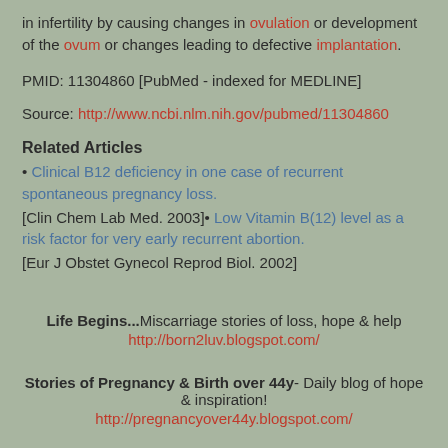in infertility by causing changes in ovulation or development of the ovum or changes leading to defective implantation.
PMID: 11304860 [PubMed - indexed for MEDLINE]
Source: http://www.ncbi.nlm.nih.gov/pubmed/11304860
Related Articles
• Clinical B12 deficiency in one case of recurrent spontaneous pregnancy loss.
[Clin Chem Lab Med. 2003]
• Low Vitamin B(12) level as a risk factor for very early recurrent abortion.
[Eur J Obstet Gynecol Reprod Biol. 2002]
Life Begins...Miscarriage stories of loss, hope & help http://born2luv.blogspot.com/
Stories of Pregnancy & Birth over 44y- Daily blog of hope & inspiration! http://pregnancyover44y.blogspot.com/